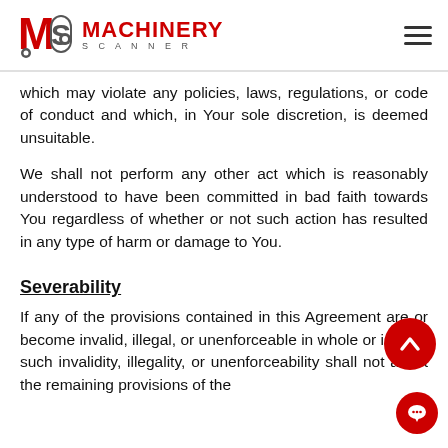MACHINERY SCANNER
which may violate any policies, laws, regulations, or code of conduct and which, in Your sole discretion, is deemed unsuitable.
We shall not perform any other act which is reasonably understood to have been committed in bad faith towards You regardless of whether or not such action has resulted in any type of harm or damage to You.
Severability
If any of the provisions contained in this Agreement are or become invalid, illegal, or unenforceable in whole or in part, such invalidity, illegality, or unenforceability shall not affect the remaining provisions of the Subscription Agreement or these Terms of